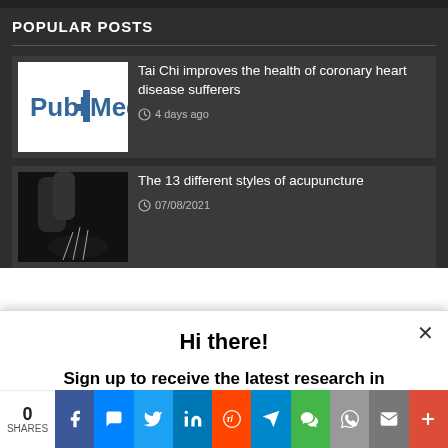POPULAR POSTS
Tai Chi improves the health of coronary heart disease sufferers
4 days ago
The 13 different styles of acupuncture
07/08/2021
Hi there!
Sign up to receive the latest research in acupuncture, cupping, moxibustion, Chinese herbal medicine and more, once a
0 SHARES